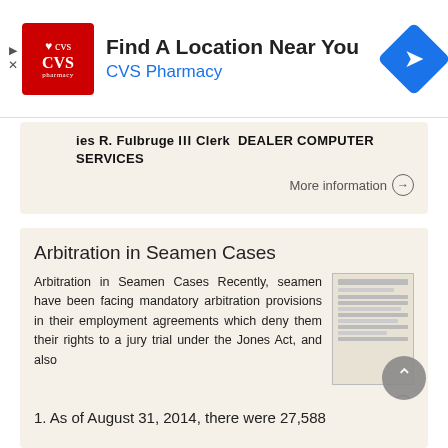[Figure (other): CVS Pharmacy advertisement banner with logo, 'Find A Location Near You' heading, and navigation icon]
ies R. Fulbruge III Clerk DEALER COMPUTER SERVICES
More information →
Arbitration in Seamen Cases
Arbitration in Seamen Cases Recently, seamen have been facing mandatory arbitration provisions in their employment agreements which deny them their rights to a jury trial under the Jones Act, and also
More information →
1. As of August 31, 2014, there were 27,588